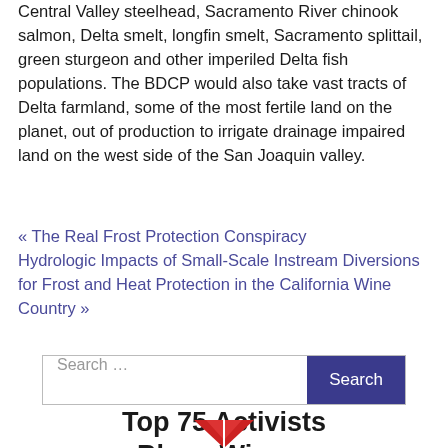Central Valley steelhead, Sacramento River chinook salmon, Delta smelt, longfin smelt, Sacramento splittail, green sturgeon and other imperiled Delta fish populations. The BDCP would also take vast tracts of Delta farmland, some of the most fertile land on the planet, out of production to irrigate drainage impaired land on the west side of the San Joaquin valley.
« The Real Frost Protection Conspiracy
Hydrologic Impacts of Small-Scale Instream Diversions for Frost and Heat Protection in the California Wine Country »
Search …
Top 75 Activists Blogs Winner